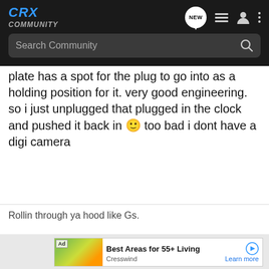CRX COMMUNITY - Navigation header with search bar
plate has a spot for the plug to go into as a holding position for it. very good engineering. so i just unplugged that plugged in the clock and pushed it back in 🙂 too bad i dont have a digi camera
Rollin through ya hood like Gs.
[Figure (screenshot): Advertisement banner: Best Areas for 55+ Living, Cresswind, Learn more]